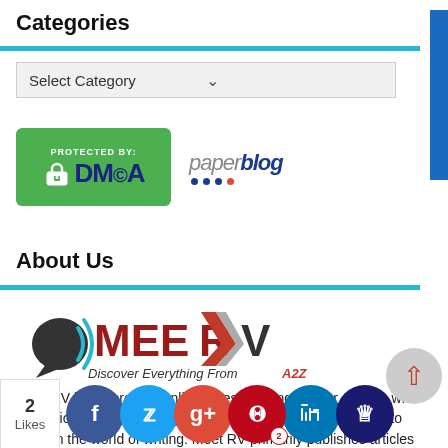Categories
[Figure (screenshot): Select Category dropdown box]
[Figure (logo): DMCA Protected By badge (green) and paperblog logo]
About Us
[Figure (logo): MeetRV logo with tagline: Discover Everything From A2Z]
Meet RV is the premier online Guest Posting site for anyone who is passionate about quality blogging and who has the desire to excel in the world of writing. Meet RV primarily publishes articles and rich content in niches like blogging, SEO, Make Money Online, Business, Blogging,
[Figure (other): Social sharing bar with Facebook, Twitter, Google+, Pinterest, LinkedIn, and crown icon buttons. Likes count: 2]